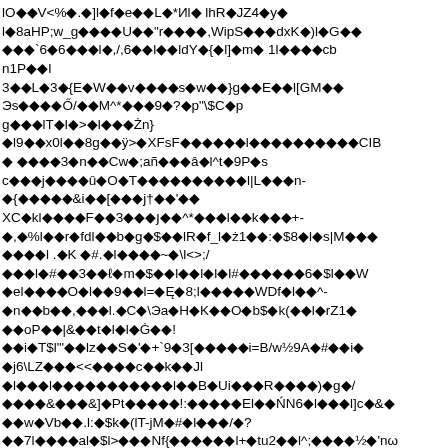lO◆◆V<%◆.◆]l◆f◆e◆◆L◆*Иl◆ lhR◆JZ4◆y◆ l◆8aHP;w_g◆◆◆◆U◆◆"r◆◆◆◆,WipS◆◆◆dxK◆)l◆G◆◆ ◆◆◆`6◆6◆◆◆l◆,/,6◆◆l◆◆ldY◆{◆l]◆m◆ 1l◆◆◆◆cb n1P◆◆I 3◆◆L◆3◆{E◆W◆◆v◆◆◆◆s◆w◆◆}g◆◆E◆◆l[GM◆◆ Эs◆◆◆◆Ő/◆◆M^*◆◆◆9◆?◆p"\$C◆p g◆◆◆lT◆l◆>◆l◆◆◆Żn} ◆l9◆◆x0l◆◆8g◆◆ÿ>◆XFsF◆◆◆◆◆◆l◆◆◆◆◆◆◆◆◆◆CIB ◆ ◆◆◆◆3◆n◆◆Cw◆;añ◆◆◆â◆l^t◆9P◆s c◆◆◆j◆◆◆◆û◆O◆T◆◆◆◆◆◆◆◆◆◆l|L◆◆◆n- ◆{◆◆◆◆◆&i◆◆[◆◆◆j†◆◆'◆◆ XC◆kl◆◆◆◆F◆◆3◆◆◆ȷ◆◆^*◆◆◆l◆◆k◆◆◆+- ◆,◆%l◆◆r◆fdl◆◆b◆g◆$◆◆lR◆f_l◆ż1◆◆:◆$8◆l◆s|M◆◆◆ ◆◆◆◆l .◆K ◆#.◆l◆◆◆◆~◆\l<>;/ ◆◆◆l◆#◆◆3◆◆ℓ◆m◆$◆◆l◆◆l◆l◆l#◆◆◆◆◆◆6◆$l◆◆W ◆el◆◆◆◆O◆l◆◆9◆◆l=◆Ę◆8;l◆◆◆◆◆WDf◆l◆◆^- ◆n◆◆b◆◆,◆◆◆l.◆C◆\Эa◆H◆K◆◆O◆b$◆k(◆◆l◆rZ1◆ ◆◆oP◆◆|&◆◆t◆l◆l◆Ġ◆◆! ◆◆i◆T$l"'◆◆lz◆◆S◆'◆+`9◆3[◆◆◆◆◆i=B/w½9A◆#◆◆i◆ ◆j6\LZ◆◆◆<<◆◆◆◆c◆◆k◆◆Jl ◆l◆◆◆l◆◆◆◆◆◆◆◆◆◆◆l◆◆B◆Ui◆◆◆R◆◆◆◆)◆g◆/ ◆◆◆◆&◆◆◆&]◆Pt◆◆◆◆◆!:◆◆◆◆◆El◆◆ŃN6◆l◆◆◆l]c◆&◆ ◆◆w◆Vb◆◆.l:◆$k◆(lT-jM◆#◆l◆◆◆/◆? ◆◆7l◆◆◆◆al◆$l>◆◆◆Nf{◆◆◆◆◆◆l+◆tu2◆◆l^;◆◆◆◆½◆'nω